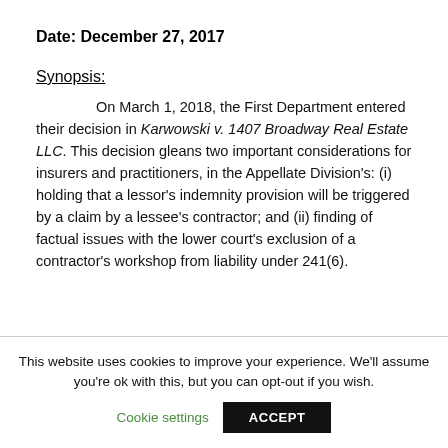Date: December 27, 2017
Synopsis:
On March 1, 2018, the First Department entered their decision in Karwowski v. 1407 Broadway Real Estate LLC. This decision gleans two important considerations for insurers and practitioners, in the Appellate Division's: (i) holding that a lessor's indemnity provision will be triggered by a claim by a lessee's contractor; and (ii) finding of factual issues with the lower court's exclusion of a contractor's workshop from liability under 241(6).
This website uses cookies to improve your experience. We'll assume you're ok with this, but you can opt-out if you wish.
Cookie settings
ACCEPT